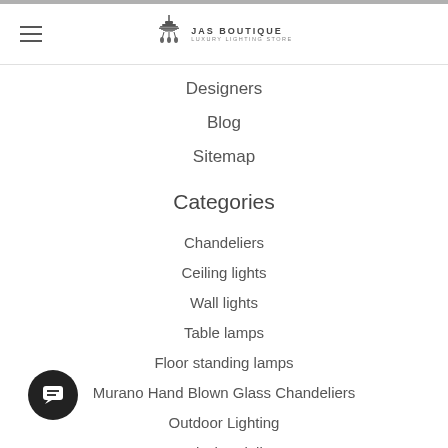JAS BOUTIQUE
Designers
Blog
Sitemap
Categories
Chandeliers
Ceiling lights
Wall lights
Table lamps
Floor standing lamps
Murano Hand Blown Glass Chandeliers
Outdoor Lighting
Hotel Chandeliers
Artificial Plants
Wall Sculptures